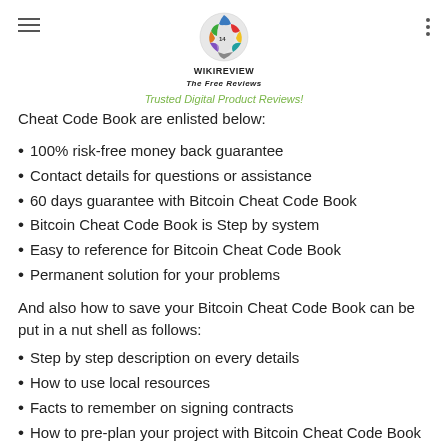[Figure (logo): WikiReview - The Free Reviews globe logo with colorful puzzle pieces]
WIKIREVIEW
The Free Reviews
Trusted Digital Product Reviews!
Cheat Code Book are enlisted below:
100% risk-free money back guarantee
Contact details for questions or assistance
60 days guarantee with Bitcoin Cheat Code Book
Bitcoin Cheat Code Book is Step by system
Easy to reference for Bitcoin Cheat Code Book
Permanent solution for your problems
And also how to save your Bitcoin Cheat Code Book can be put in a nut shell as follows:
Step by step description on every details
How to use local resources
Facts to remember on signing contracts
How to pre-plan your project with Bitcoin Cheat Code Book
• (truncated — continues below)